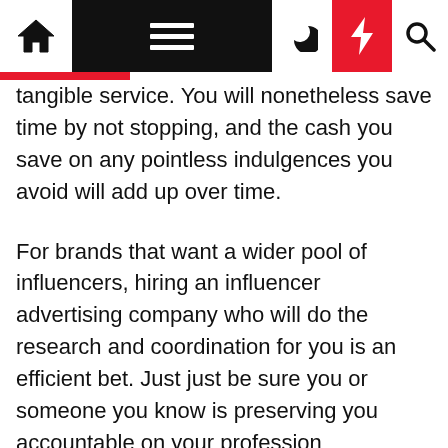[Navigation bar with home, menu, moon, bolt, search icons]
tangible service. You will nonetheless save time by not stopping, and the cash you save on any pointless indulgences you avoid will add up over time.
For brands that want a wider pool of influencers, hiring an influencer advertising company who will do the research and coordination for you is an efficient bet. Just just be sure you or someone you know is preserving you accountable on your profession improvement plan targets. Selain itu, kami juga memiliki ulasan tiga bisnis kuliner yang telah berhasil menerapkan upaya pemasaran melalui digital advertising.
Start organizing your occasion by securing a pet-pleasant area to host it. A local park might be your best wager. On the undergraduate degree, the most